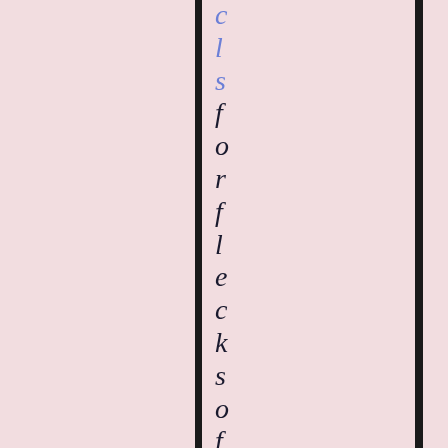c l s f o r f l e c k s o f c o l o r ! Y